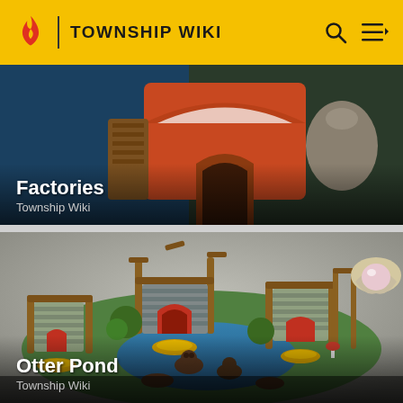TOWNSHIP WIKI
[Figure (screenshot): Factories card showing game screenshot of a factory building with orange roof and wooden structures in a dark blue background]
Factories
Township Wiki
[Figure (screenshot): Otter Pond card showing game screenshot of a pond area with otter-themed buildings, wooden structures with red arched doors, an oyster with pearl, and otters in a blue pond on a grassy island]
Otter Pond
Township Wiki